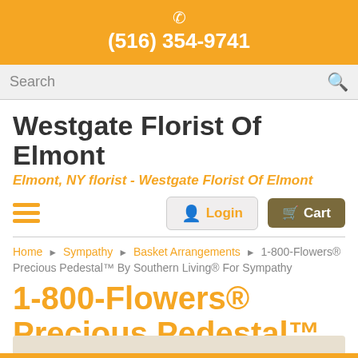(516) 354-9741
[Figure (screenshot): Search bar with magnifying glass icon]
Westgate Florist Of Elmont
Elmont, NY florist - Westgate Florist Of Elmont
[Figure (other): Navigation row with hamburger menu, Login and Cart buttons]
Home › Sympathy › Basket Arrangements › 1-800-Flowers® Precious Pedestal™ By Southern Living® For Sympathy
1-800-Flowers® Precious Pedestal™ By Southern Living® For Sympathy